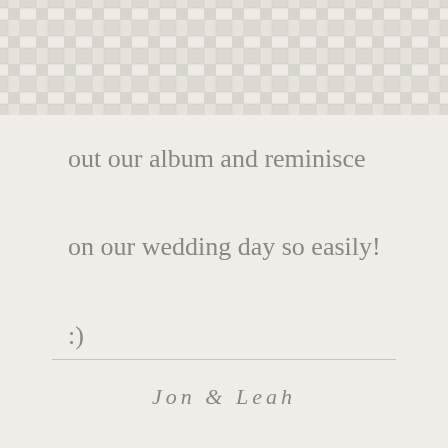[Figure (illustration): Woven basket-weave texture background pattern in beige/cream tones at the top of the page]
out our album and reminisce

on our wedding day so easily!

:)
Jon & Leah